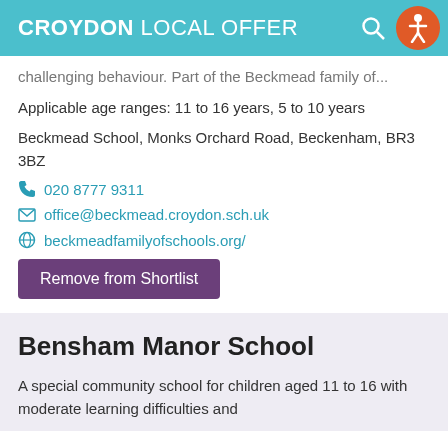CROYDON LOCAL OFFER
challenging behaviour. Part of the Beckmead family of...
Applicable age ranges: 11 to 16 years, 5 to 10 years
Beckmead School, Monks Orchard Road, Beckenham, BR3 3BZ
020 8777 9311
office@beckmead.croydon.sch.uk
beckmeadfamilyofschools.org/
Remove from Shortlist
Bensham Manor School
A special community school for children aged 11 to 16 with moderate learning difficulties and